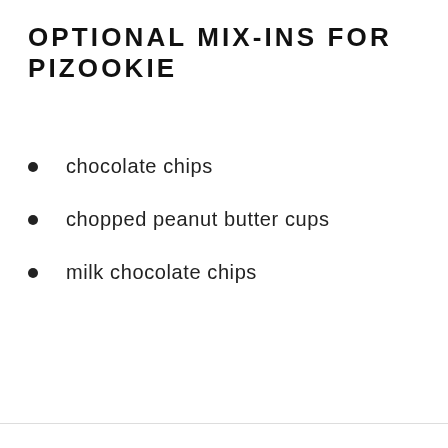OPTIONAL MIX-INS FOR PIZOOKIE
chocolate chips
chopped peanut butter cups
milk chocolate chips